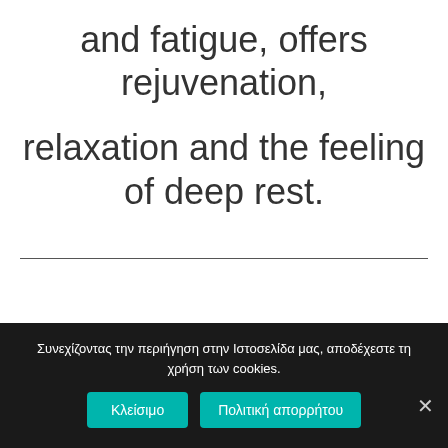and fatigue, offers rejuvenation, relaxation and the feeling of deep rest.
Συνεχίζοντας την περιήγηση στην Ιστοσελίδα μας, αποδέχεστε τη χρήση των cookies.
Κλείσιμο | Πολιτική απορρήτου